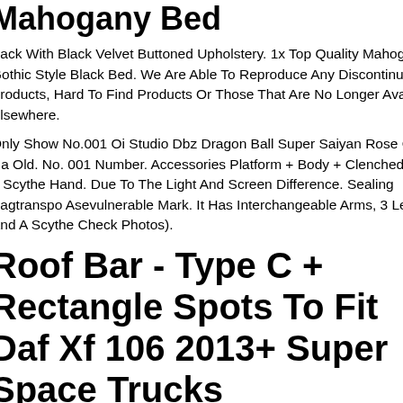Mahogany Bed
Back With Black Velvet Buttoned Upholstery. 1x Top Quality Mahogany Gothic Style Black Bed. We Are Able To Reproduce Any Discontinued Products, Hard To Find Products Or Those That Are No Longer Available Elsewhere.
Only Show No.001 Oi Studio Dbz Dragon Ball Super Saiyan Rose Goku Ha Old. No. 001 Number. Accessories Platform + Body + Clenched Fist + Scythe Hand. Due To The Light And Screen Difference. Sealing Bagtranspo Asevulnerable Mark. It Has Interchangeable Arms, 3 Led's And A Scythe Check Photos).
Roof Bar - Type C + Rectangle Spots To Fit Daf Xf 106 2013+ Super Space Trucks
You Are Not Totally Satisfied With Your Product, You Will Need To Notify U Within 7 Working Days From The Receipt Of Your Order. You Will Then Ne Return It To Us For A Full Refund. The Product Has To Be In A Re- leable Condition. You Will Be Liable For The Cost Of Replacement Or Repair Of Any Goods Returned Scratched Or Damaged. If You Are Retur